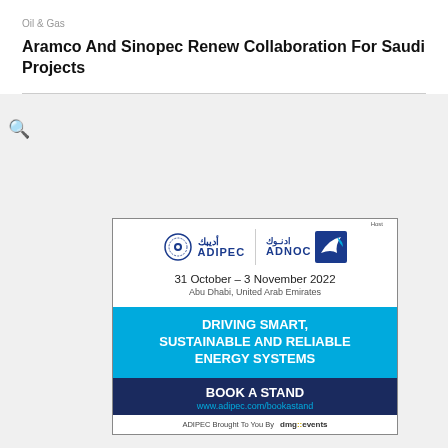Oil & Gas
Aramco And Sinopec Renew Collaboration For Saudi Projects
[Figure (infographic): ADIPEC advertisement banner: ADIPEC and ADNOC logos at top, dates 31 October – 3 November 2022, Abu Dhabi United Arab Emirates, blue band reading DRIVING SMART, SUSTAINABLE AND RELIABLE ENERGY SYSTEMS, dark band reading BOOK A STAND with URL www.adipec.com/bookastand, footer reading ADIPEC Brought To You By dmg events]